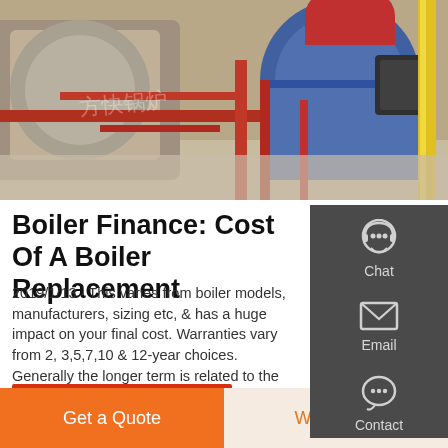[Figure (photo): Industrial boiler room photo showing large cylindrical boilers with red piping, yellow pipe, and equipment in a warehouse setting. Chinese watermark text visible.]
Boiler Finance: Cost Of A Boiler Replacement
2019/1/13 · This varies from boiler models, manufacturers, sizing etc, & has a huge impact on your final cost. Warranties vary from 2, 3,5,7,10 & 12-year choices. Generally the longer term is related to the greatest cost. Pretty obvious really. However, that may not mean there are no great deals to be had.
[Figure (infographic): Dark sidebar panel with Chat (headset icon), Email (envelope icon), and Contact (speech bubble icon) buttons]
GET A QUOTE
Get a Quote
WhatsApp